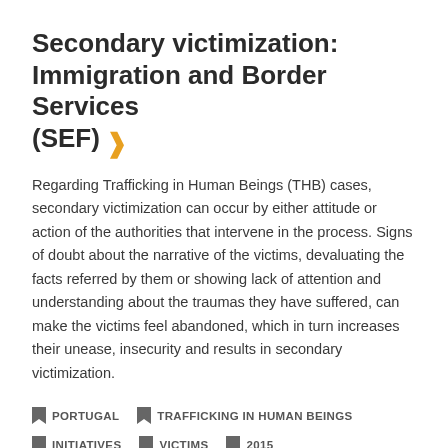Secondary victimization: Immigration and Border Services (SEF)
Regarding Trafficking in Human Beings (THB) cases, secondary victimization can occur by either attitude or action of the authorities that intervene in the process. Signs of doubt about the narrative of the victims, devaluating the facts referred by them or showing lack of attention and understanding about the traumas they have suffered, can make the victims feel abandoned, which in turn increases their unease, insecurity and results in secondary victimization.
PORTUGAL
TRAFFICKING IN HUMAN BEINGS
INITIATIVES
VICTIMS
2015